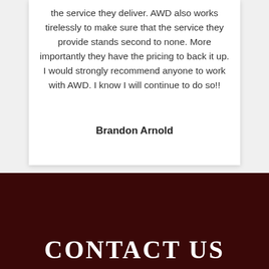the service they deliver. AWD also works tirelessly to make sure that the service they provide stands second to none. More importantly they have the pricing to back it up. I would strongly recommend anyone to work with AWD. I know I will continue to do so!!
Brandon Arnold
CONTACT US